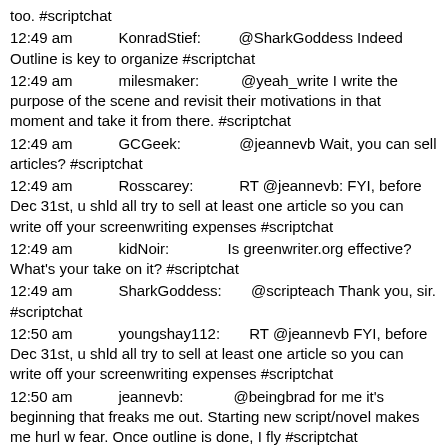too. #scriptchat
12:49 am    KonradStief:    @SharkGoddess Indeed Outline is key to organize #scriptchat
12:49 am    milesmaker:    @yeah_write I write the purpose of the scene and revisit their motivations in that moment and take it from there. #scriptchat
12:49 am    GCGeek:    @jeannevb Wait, you can sell articles? #scriptchat
12:49 am    Rosscarey:    RT @jeannevb: FYI, before Dec 31st, u shld all try to sell at least one article so you can write off your screenwriting expenses #scriptchat
12:49 am    kidNoir:    Is greenwriter.org effective? What's your take on it? #scriptchat
12:49 am    SharkGoddess:    @scripteach Thank you, sir. #scriptchat
12:50 am    youngshay112:    RT @jeannevb FYI, before Dec 31st, u shld all try to sell at least one article so you can write off your screenwriting expenses #scriptchat
12:50 am    jeannevb:    @beingbrad for me it's beginning that freaks me out. Starting new script/novel makes me hurl w fear. Once outline is done, I fly #scriptchat
12:50 am    TheWriteScript:    @jeannevb But